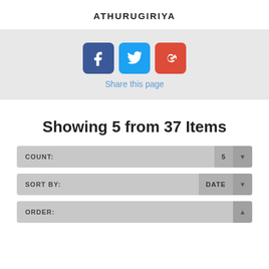ATHURUGIRIYA
[Figure (infographic): Social share buttons: Facebook (blue), Twitter (cyan), Google+ (red), with text 'Share this page' below]
Share this page
Showing 5 from 37 Items
COUNT: 5
SORT BY: DATE
ORDER: